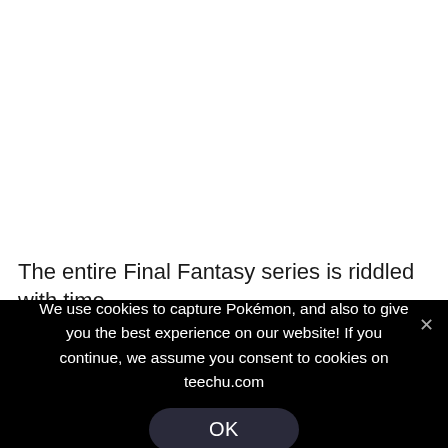The entire Final Fantasy series is riddled with time
We use cookies to capture Pokémon, and also to give you the best experience on our website! If you continue, we assume you consent to cookies on teechu.com
OK